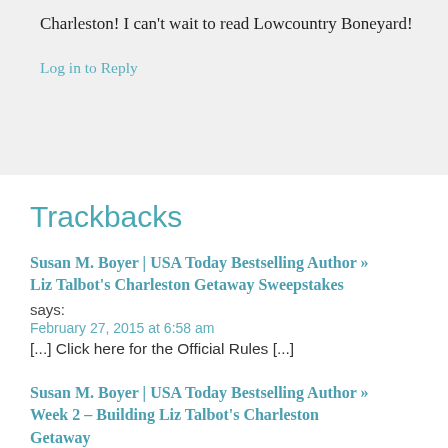…What a great getaway in Charleston! I can't wait to read Lowcountry Boneyard!
Log in to Reply
Trackbacks
Susan M. Boyer | USA Today Bestselling Author » Liz Talbot's Charleston Getaway Sweepstakes
says:
February 27, 2015 at 6:58 am
[...] Click here for the Official Rules [...]
Susan M. Boyer | USA Today Bestselling Author » Week 2 – Building Liz Talbot's Charleston Getaway says: